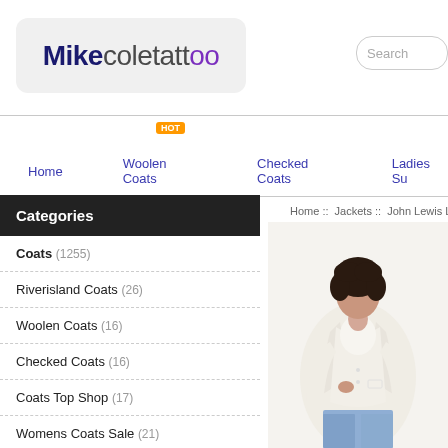[Figure (logo): Mikecoletattoo logo with stylized text in dark navy and gray with purple double-O]
Search
Home
Woolen Coats
Checked Coats
Ladies Su
Home :: Jackets :: John Lewis Ladies Jack
Categories
Coats (1255)
Riverisland Coats (26)
Woolen Coats (16)
Checked Coats (16)
Coats Top Shop (17)
Womens Coats Sale (21)
Coats River Island (24)
Coats And Jackets (13)
[Figure (photo): Woman wearing a cream/white blazer jacket with blue jeans, modeling the John Lewis Ladies Jacket]